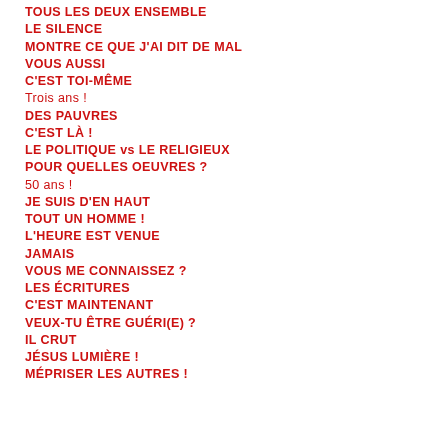TOUS LES DEUX ENSEMBLE
LE SILENCE
MONTRE CE QUE J'AI DIT DE MAL
VOUS AUSSI
C'EST TOI-MÊME
Trois ans !
DES PAUVRES
C'EST LÀ !
LE POLITIQUE vs LE RELIGIEUX
POUR QUELLES OEUVRES ?
50 ans !
JE SUIS D'EN HAUT
TOUT UN HOMME !
L'HEURE EST VENUE
JAMAIS
VOUS ME CONNAISSEZ ?
LES ÉCRITURES
C'EST MAINTENANT
VEUX-TU ÊTRE GUÉRI(E) ?
IL CRUT
JÉSUS LUMIÈRE !
MÉPRISER LES AUTRES !